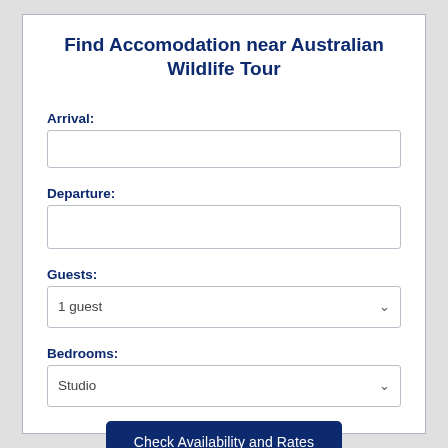Find Accomodation near Australian Wildlife Tour
Arrival:
Departure:
Guests:
1 guest
Bedrooms:
Studio
Check Availability and Rates